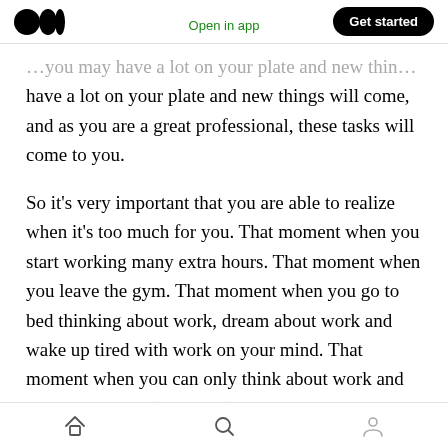Medium logo | Open in app | Get started
…you may have a lot on your plate and new things will come, and as you are a great professional, these tasks will come to you.
So it's very important that you are able to realize when it's too much for you. That moment when you start working many extra hours. That moment when you leave the gym. That moment when you go to bed thinking about work, dream about work and wake up tired with work on your mind. That moment when you can only think about work and leave important (non work)
Home | Search | Profile